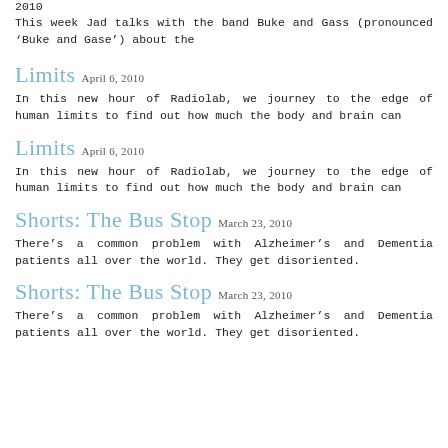2010
This week Jad talks with the band Buke and Gass (pronounced &#8216;Buke and Gase&#8217;) about the
Limits April 6, 2010
In this new hour of Radiolab, we journey to the edge of human limits to find out how much the body and brain can
Limits April 6, 2010
In this new hour of Radiolab, we journey to the edge of human limits to find out how much the body and brain can
Shorts: The Bus Stop March 23, 2010
There’s a common problem with Alzheimer&#8217;s and Dementia patients all over the world. They get disoriented.
Shorts: The Bus Stop March 23, 2010
There’s a common problem with Alzheimer&#8217;s and Dementia patients all over the world. They get disoriented.